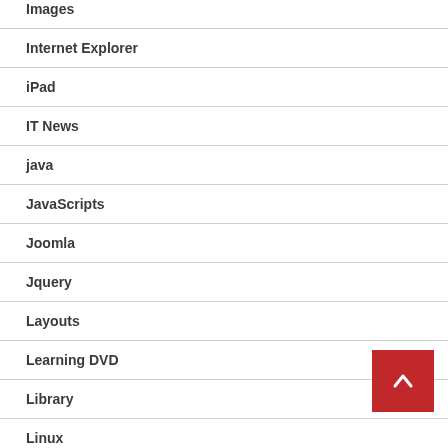Images
Internet Explorer
iPad
IT News
java
JavaScripts
Joomla
Jquery
Layouts
Learning DVD
Library
Linux
Logos
Ma...